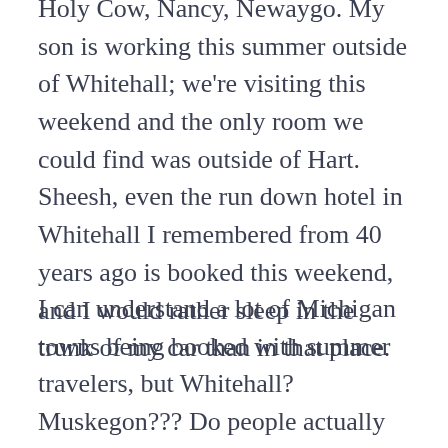Holy Cow, Nancy, Newaygo. My son is working this summer outside of Whitehall; we're visiting this weekend and the only room we could find was outside of Hart. Sheesh, even the run down hotel in Whitehall I remembered from 40 years ago is booked this weekend, and I would rather sleep in the trunk of my car than in that place.
I can understand a lot of Michigan towns being booked with summer travelers, but Whitehall? Muskegon??? Do people actually surf the net, find out that Traverse City is booked, and figure, what the heck, Muskegon's the next best thing?